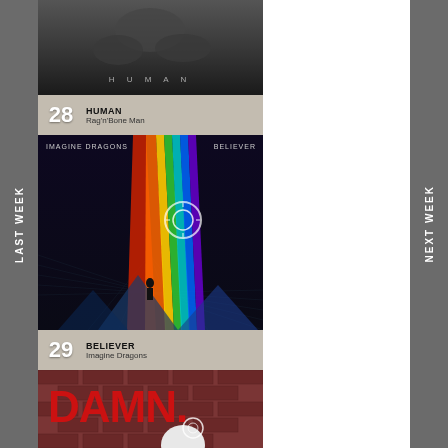[Figure (screenshot): Music chart app screenshot showing album covers and track listings. Left sidebar says LAST WEEK, right sidebar says NEXT WEEK. Three album entries visible: #28 HUMAN by Rag'n'Bone Man, #29 BELIEVER by Imagine Dragons with rainbow prism cover art, and #30 DAMN. by Kendrick Lamar partially visible.]
LAST WEEK
NEXT WEEK
28
HUMAN
Rag'n'Bone Man
29
BELIEVER
Imagine Dragons
DAMN.